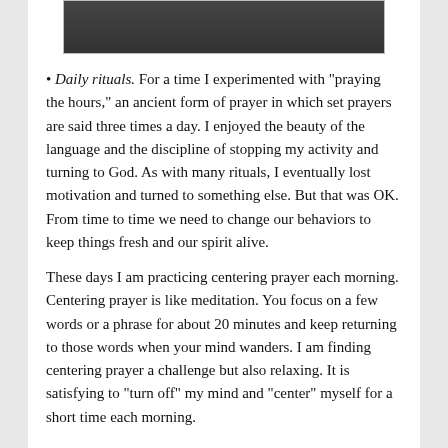[Figure (photo): Partial photograph of a person in dark clothing, cropped at top of page]
Daily rituals. For a time I experimented with “praying the hours,” an ancient form of prayer in which set prayers are said three times a day. I enjoyed the beauty of the language and the discipline of stopping my activity and turning to God. As with many rituals, I eventually lost motivation and turned to something else. But that was OK. From time to time we need to change our behaviors to keep things fresh and our spirit alive.
These days I am practicing centering prayer each morning. Centering prayer is like meditation. You focus on a few words or a phrase for about 20 minutes and keep returning to those words when your mind wanders. I am finding centering prayer a challenge but also relaxing. It is satisfying to “turn off” my mind and “center” myself for a short time each morning.
Life rituals. My cousin has created a row of stone markers in his yard. I took this idea from the Old...